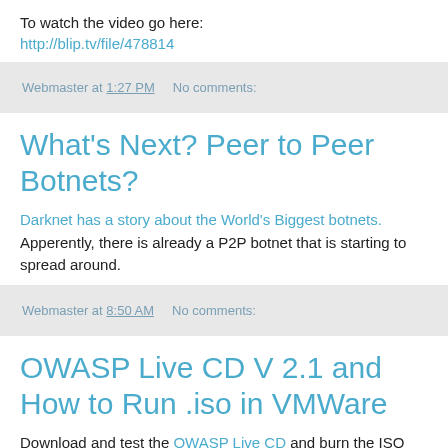To watch the video go here:
http://blip.tv/file/478814
Webmaster at 1:27 PM   No comments:
What's Next? Peer to Peer Botnets?
Darknet has a story about the World's Biggest botnets. Apperently, there is already a P2P botnet that is starting to spread around.
Webmaster at 8:50 AM   No comments:
OWASP Live CD V 2.1 and How to Run .iso in VMWare
Download and test the OWASP Live CD and burn the ISO